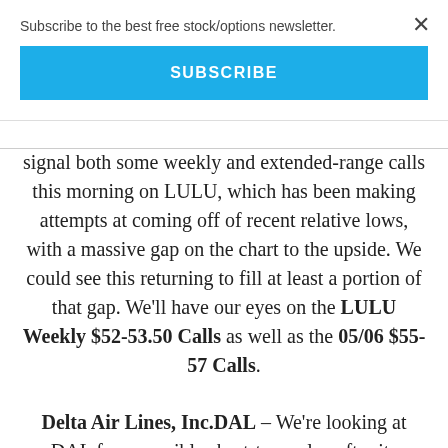Subscribe to the best free stock/options newsletter.
SUBSCRIBE
signal both some weekly and extended-range calls this morning on LULU, which has been making attempts at coming off of recent relative lows, with a massive gap on the chart to the upside. We could see this returning to fill at least a portion of that gap. We'll have our eyes on the LULU Weekly $52-53.50 Calls as well as the 05/06 $55-57 Calls.
Delta Air Lines, Inc.DAL – We're looking at DAL for a possible short-term play after its